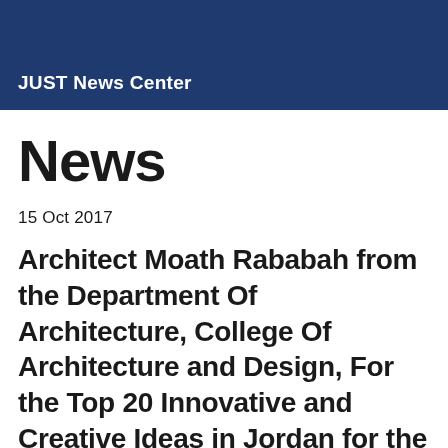JUST News Center
News
15 Oct 2017
Architect Moath Rababah from the Department Of Architecture, College Of Architecture and Design, For the Top 20 Innovative and Creative Ideas in Jordan for the Year 2017